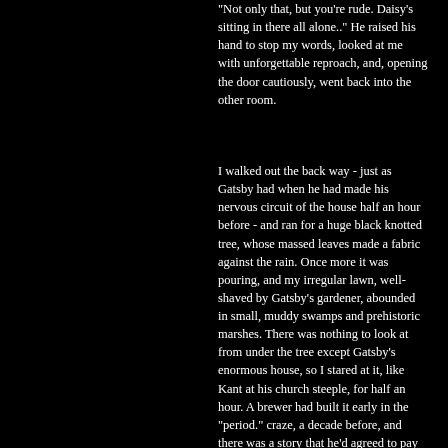'Not only that, but you're rude. Daisy's sitting in there all alone..' He raised his hand to stop my words, looked at me with unforgettable reproach, and, opening the door cautiously, went back into the other room.
I walked out the back way - just as Gatsby had when he had made his nervous circuit of the house half an hour before - and ran for a huge black knotted tree, whose massed leaves made a fabric against the rain. Once more it was pouring, and my irregular lawn, well-shaved by Gatsby's gardener, abounded in small, muddy swamps and prehistoric marshes. There was nothing to look at from under the tree except Gatsby's enormous house, so I stared at it, like Kant at his church steeple, for half an hour. A brewer had built it early in the "period." craze, a decade before, and there was a story that he'd agreed to pay five years' taxes on all the neighboring cottages if the owners would have their roofs thatched with straw. Perhaps their refusal took the